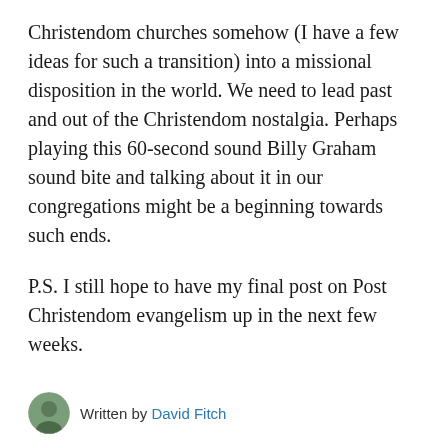Christendom churches somehow (I have a few ideas for such a transition) into a missional disposition in the world. We need to lead past and out of the Christendom nostalgia. Perhaps playing this 60-second sound Billy Graham sound bite and talking about it in our congregations might be a beginning towards such ends.
P.S. I still hope to have my final post on Post Christendom evangelism up in the next few weeks.
Written by David Fitch